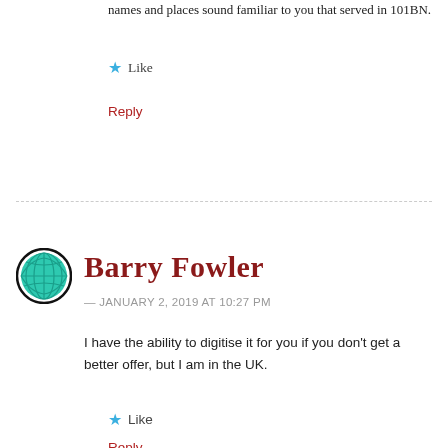names and places sound familiar to you that served in 101BN.
★ Like
Reply
Barry Fowler
— JANUARY 2, 2019 AT 10:27 PM
I have the ability to digitise it for you if you don't get a better offer, but I am in the UK.
★ Like
Reply